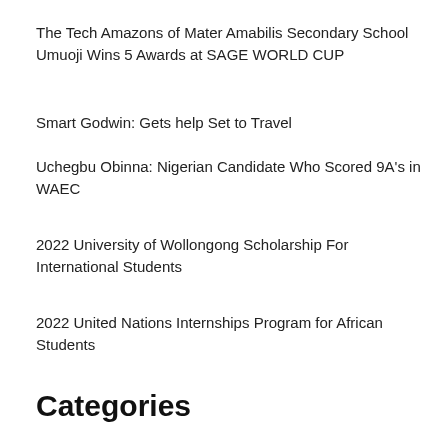The Tech Amazons of Mater Amabilis Secondary School Umuoji Wins 5 Awards at SAGE WORLD CUP
Smart Godwin: Gets help Set to Travel
Uchegbu Obinna: Nigerian Candidate Who Scored 9A's in WAEC
2022 University of Wollongong Scholarship For International Students
2022 United Nations Internships Program for African Students
Categories